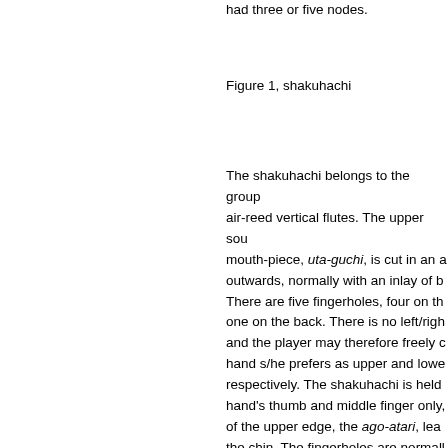had three or five nodes.
Figure 1, shakuhachi
The shakuhachi belongs to the group of air-reed vertical flutes. The upper sound mouth-piece, uta-guchi, is cut in an a outwards, normally with an inlay of b There are five fingerholes, four on th one on the back. There is no left/righ and the player may therefore freely c hand s/he prefers as upper and lowe respectively. The shakuhachi is held hand's thumb and middle finger only, of the upper edge, the ago-atari, lea the chin. The fingerholes are normall from down and up, and covered in th indicated in figure 1 and plate 6.